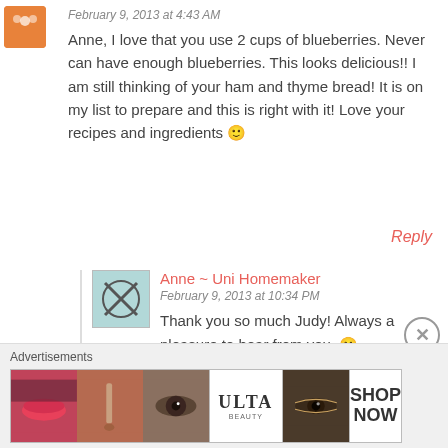February 9, 2013 at 4:43 AM
Anne, I love that you use 2 cups of blueberries. Never can have enough blueberries. This looks delicious!! I am still thinking of your ham and thyme bread! It is on my list to prepare and this is right with it! Love your recipes and ingredients 🙂
Reply
Anne ~ Uni Homemaker
February 9, 2013 at 10:34 PM
Thank you so much Judy! Always a pleasure to hear from you. 🙂
Advertisements